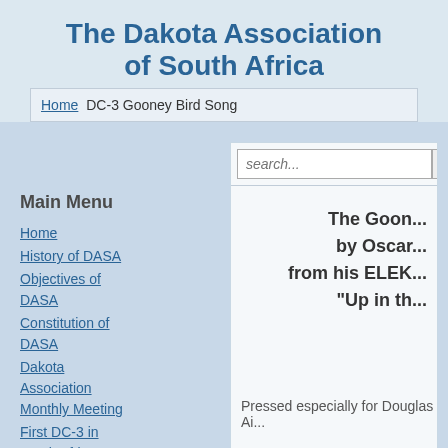The Dakota Association of South Africa
Home  DC-3 Gooney Bird Song
Main Menu
Home
History of DASA
Objectives of DASA
Constitution of DASA
Dakota Association Monthly Meeting
First DC-3 in South Africa
Dakota Lodge
DC-3 Stories
The Goon... by Oscar... from his ELEK... "Up in th...
Pressed especially for Douglas Ai...